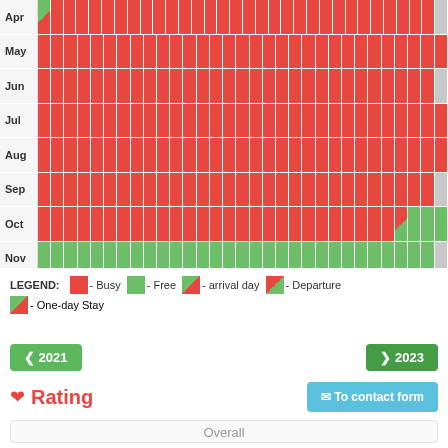[Figure (other): Availability calendar grid showing months Apr through Dec with red (Busy), green (Free), and gray cells. Includes legend for Busy, Free, arrival day, Departure, and One-day Stay. Navigation buttons for 2021 and 2023. Rating section and Overall section at the bottom.]
LEGEND: - Busy - Free - arrival day - Departure - One-day Stay
< 2021
> 2023
Rating
To contact form
Overall